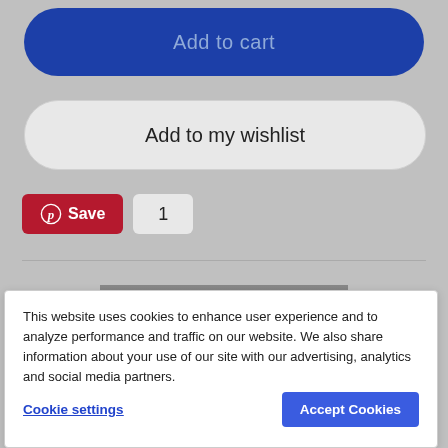Add to cart
Add to my wishlist
Save 1
[Figure (screenshot): Partial product image showing a person, partially obscured]
This website uses cookies to enhance user experience and to analyze performance and traffic on our website. We also share information about your use of our site with our advertising, analytics and social media partners.
Cookie settings
Accept Cookies